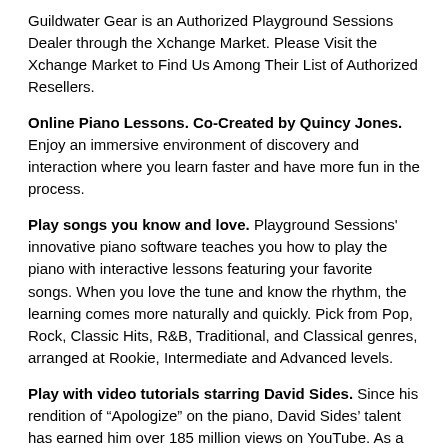Guildwater Gear is an Authorized Playground Sessions Dealer through the Xchange Market. Please Visit the Xchange Market to Find Us Among Their List of Authorized Resellers.
Online Piano Lessons. Co-Created by Quincy Jones. Enjoy an immersive environment of discovery and interaction where you learn faster and have more fun in the process.
Play songs you know and love. Playground Sessions' innovative piano software teaches you how to play the piano with interactive lessons featuring your favorite songs. When you love the tune and know the rhythm, the learning comes more naturally and quickly. Pick from Pop, Rock, Classic Hits, R&B, Traditional, and Classical genres, arranged at Rookie, Intermediate and Advanced levels.
Play with video tutorials starring David Sides. Since his rendition of "Apologize" on the piano, David Sides' talent has earned him over 185 million views on YouTube. As a YouTube sensation, David has been invited to play all over the world.